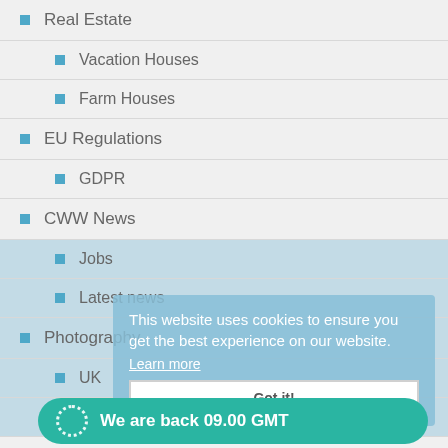Real Estate
Vacation Houses
Farm Houses
EU Regulations
GDPR
CWW News
Jobs
Latest news
Photography
UK
Spain
This website uses cookies to ensure you get the best experience on our website.
Learn more
Got it!
We are back 09.00 GMT